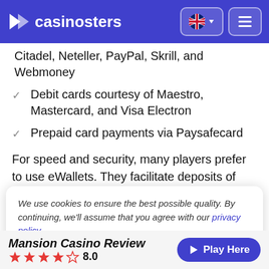casinosters
Citadel, Neteller, PayPal, Skrill, and Webmoney
Debit cards courtesy of Maestro, Mastercard, and Visa Electron
Prepaid card payments via Paysafecard
For speed and security, many players prefer to use eWallets. They facilitate deposits of £10 to £35,000 per time. Deposits are instant, and withdrawals take anywhere from 1 to 11 days.
We use cookies to ensure the best possible quality. By continuing, we'll assume that you agree with our privacy policy.
Mansion Casino Review 8.0